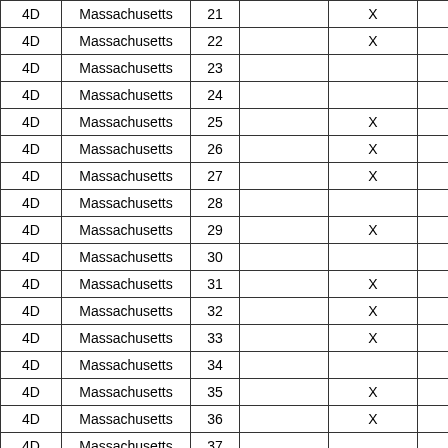| 4D | Massachusetts | 21 |  | X |  |
| 4D | Massachusetts | 22 |  | X |  |
| 4D | Massachusetts | 23 |  |  | X |
| 4D | Massachusetts | 24 |  |  | X |
| 4D | Massachusetts | 25 |  | X |  |
| 4D | Massachusetts | 26 |  | X |  |
| 4D | Massachusetts | 27 |  | X |  |
| 4D | Massachusetts | 28 |  |  | X |
| 4D | Massachusetts | 29 |  | X |  |
| 4D | Massachusetts | 30 |  |  | X |
| 4D | Massachusetts | 31 |  | X |  |
| 4D | Massachusetts | 32 |  | X |  |
| 4D | Massachusetts | 33 |  | X |  |
| 4D | Massachusetts | 34 |  |  | X |
| 4D | Massachusetts | 35 |  | X |  |
| 4D | Massachusetts | 36 |  | X |  |
| 4D | Massachusetts | 37 |  |  | X |